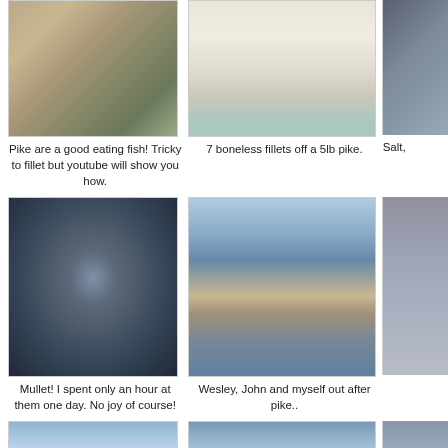[Figure (photo): Fish (pike) on a kitchen counter with a knife and blue drink container]
[Figure (photo): 7 boneless pike fillets laid out on a teal surface]
[Figure (photo): Partial image on right side, clipped]
Pike are a good eating fish! Tricky to fillet but youtube will show you how.
7 boneless fillets off a 5lb pike.
Salt,
[Figure (photo): Water surface showing concentric ripple rings from a mullet]
[Figure (photo): Wesley, John and person in a boat on open water]
[Figure (photo): Partial image on right side, clipped]
Mullet! I spent only an hour at them one day. No joy of course!
Wesley, John and myself out after pike..
[Figure (photo): Person in red with clouds, bottom row left, partially visible]
[Figure (photo): Person on boat with clouds, bottom row middle, partially visible]
[Figure (photo): Partial image on right side, bottom row, clipped]